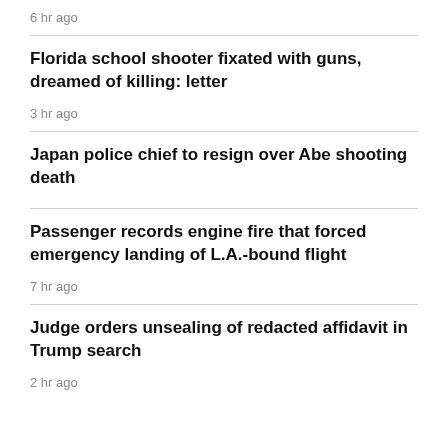6 hr ago
Florida school shooter fixated with guns, dreamed of killing: letter
3 hr ago
Japan police chief to resign over Abe shooting death
Passenger records engine fire that forced emergency landing of L.A.-bound flight
7 hr ago
Judge orders unsealing of redacted affidavit in Trump search
2 hr ago